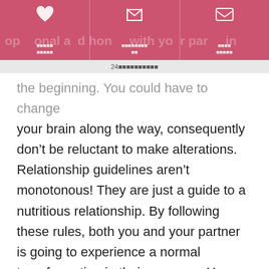open emotional and honest with your partner in
24××××××××××
the beginning. You could have to change your brain along the way, consequently don’t be reluctant to make alterations. Relationship guidelines aren’t monotonous! They are just a guide to a nutritious relationship. By following these rules, both you and your partner is going to experience a normal transformation in their romance. You and your partner will no longer find it difficult to meet every other’s needs.